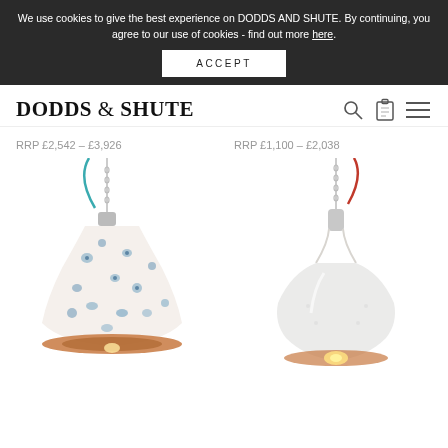We use cookies to give the best experience on DODDS AND SHUTE. By continuing, you agree to our use of cookies - find out more here.
ACCEPT
DODDS & SHUTE
RRP £2,542 – £3,926
RRP £1,100 – £2,038
[Figure (photo): Pendant lamp with blue floral pattern on white enamel shade, blue cable, silver chain fitting]
[Figure (photo): Pendant lamp with plain white enamel dome shade, red cable, silver chain fitting, glowing bulb visible]